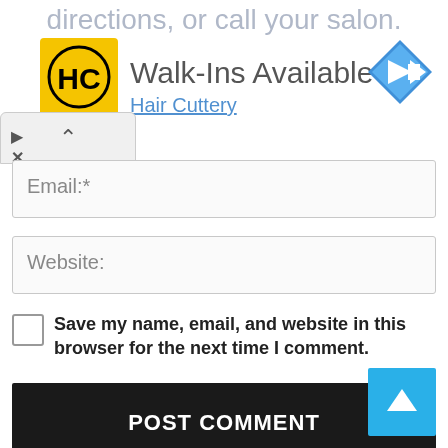[Figure (screenshot): Partial advertisement banner at top: Hair Cuttery 'Walk-Ins Available' ad with yellow HC logo, navigation diamond icon, and partially visible text 'directions, or call your salon:' in gray at the very top]
Email:*
Website:
Save my name, email, and website in this browser for the next time I comment.
POST COMMENT